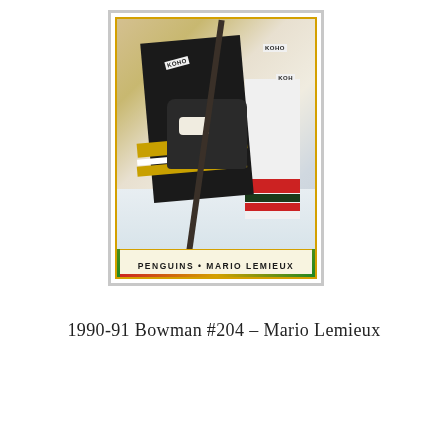[Figure (photo): 1990-91 Bowman hockey trading card #204 featuring Mario Lemieux of the Pittsburgh Penguins. The card shows a close-up action photo of hockey players on ice, with Lemieux in a black and gold Penguins jersey, hockey gloves visible, KOHO branding on equipment. An opponent in a white jersey with red and green stripes is visible on the right. The card has a colorful red-yellow-green border. The bottom of the card reads 'PENGUINS • MARIO LEMIEUX' in bold letters on a cream/gold background.]
1990-91 Bowman #204 – Mario Lemieux